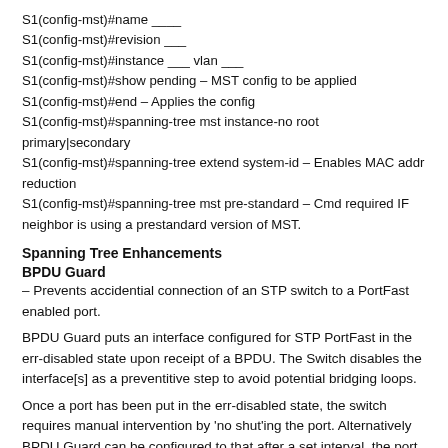S1(config-mst)#name ____
S1(config-mst)#revision ___
S1(config-mst)#instance ___ vlan ___
S1(config-mst)#show pending – MST config to be applied
S1(config-mst)#end – Applies the config
S1(config-mst)#spanning-tree mst instance-no root primary|secondary
S1(config-mst)#spanning-tree extend system-id – Enables MAC addr reduction
S1(config-mst)#spanning-tree mst pre-standard – Cmd required IF neighbor is using a prestandard version of MST.
Spanning Tree Enhancements
BPDU Guard
– Prevents accidential connection of an STP switch to a PortFast enabled port.
BPDU Guard puts an interface configured for STP PortFast in the err-disabled state upon receipt of a BPDU. The Switch disables the interface[s] as a preventitive step to avoid potential bridging loops.
Once a port has been put in the err-disabled state, the switch requires manual intervention by 'no shut'ing the port. Alternatively BPDU Guard can be configured to that after a set interval, the port will be 'no shut',